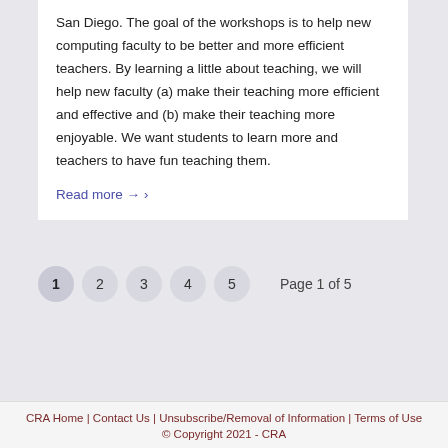San Diego. The goal of the workshops is to help new computing faculty to be better and more efficient teachers. By learning a little about teaching, we will help new faculty (a) make their teaching more efficient and effective and (b) make their teaching more enjoyable. We want students to learn more and teachers to have fun teaching them.
Read more →
1 2 3 4 5   Page 1 of 5
CRA Home | Contact Us | Unsubscribe/Removal of Information | Terms of Use
© Copyright 2021 - CRA